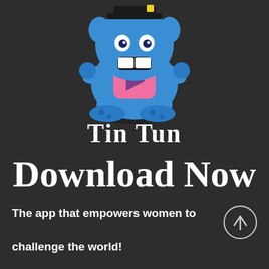[Figure (illustration): Blue cartoon monster character holding a pink play button shape, with a shadow underneath. The character has big white teeth, blue fur, and yellow highlights.]
Tin Tun
Download Now
The app that empowers women to
challenge the world!